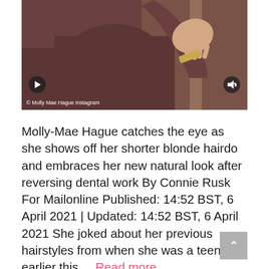[Figure (screenshot): Screenshot of a person wearing a brown/mauve long-sleeve top waving, with video player controls overlay and a watermark reading © Molly Mae Hague Instagram]
© Molly Mae Hague Instagram
Molly-Mae Hague catches the eye as she shows off her shorter blonde hairdo and embraces her new natural look after reversing dental work By Connie Rusk For Mailonline Published: 14:52 BST, 6 April 2021 | Updated: 14:52 BST, 6 April 2021 She joked about her previous hairstyles from when she was a teenager earlier this ... Read more